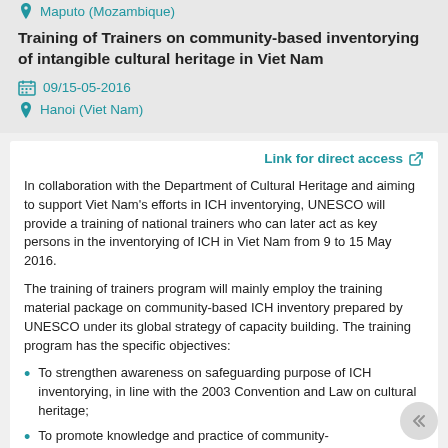Maputo (Mozambique)
Training of Trainers on community-based inventorying of intangible cultural heritage in Viet Nam
09/15-05-2016
Hanoi (Viet Nam)
Link for direct access
In collaboration with the Department of Cultural Heritage and aiming to support Viet Nam's efforts in ICH inventorying, UNESCO will provide a training of national trainers who can later act as key persons in the inventorying of ICH in Viet Nam from 9 to 15 May 2016.
The training of trainers program will mainly employ the training material package on community-based ICH inventory prepared by UNESCO under its global strategy of capacity building. The training program has the specific objectives:
To strengthen awareness on safeguarding purpose of ICH inventorying, in line with the 2003 Convention and Law on cultural heritage;
To promote knowledge and practice of community-